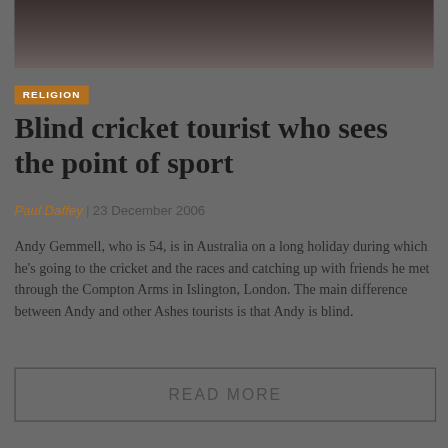[Figure (photo): Dark blurred photo at top of article, showing a person, used as article header image]
RELIGION
Blind cricket tourist who sees the point of sport
Paul Daffey | 23 December 2006
Andy Gemmell, who is 54, is in Australia on a long holiday during which he's going to the cricket and the races and catching up with friends he met through the Compton Arms in Islington, London. The main difference between Andy and other Ashes tourists is that Andy is blind.
READ MORE